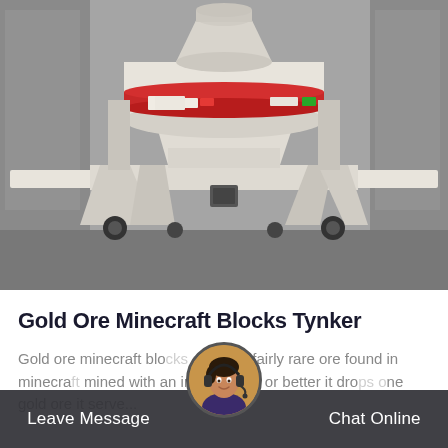[Figure (photo): Large industrial white cone crusher / VSI crusher machine on a concrete pad outdoors, with a red stripe around the upper drum section. The machine sits on a heavy white steel frame structure. Background shows a grey industrial building wall.]
Gold Ore Minecraft Blocks Tynker
Gold ore minecraft blocks gold is a fairly rare ore found in minecraft mined with an iron pickaxe or better it drops one gold ore it serve...
Leave Message
Chat Online